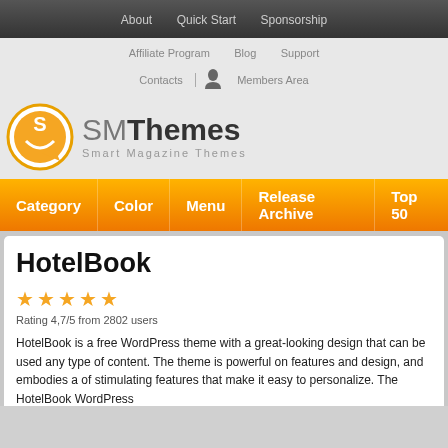About | Quick Start | Sponsorship
Affiliate Program | Blog | Support
Contacts | Members Area
[Figure (logo): SMThemes logo with orange speech bubble icon and text 'SMThemes Smart Magazine Themes']
Category | Color | Menu | Release Archive | Top 50
HotelBook
Rating 4,7/5 from 2802 users
HotelBook is a free WordPress theme with a great-looking design that can be used any type of content. The theme is powerful on features and design, and embodies a of stimulating features that make it easy to personalize. The HotelBook WordPress